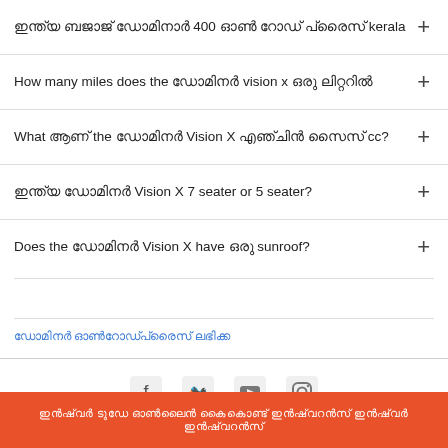ഇന്ത്യ ബജാജ് ഡോമിനാർ 400 ഓൺ റോഡ് പ്രൈസ് kerala
How many miles does the ഡോമിനർ vision x ഒരു ലിറ്ററിൽ
What ആണ് the ഡോമിനർ Vision X എഞ്ചിൻ സൈസ് cc?
ഇന്ത്യ ഡോമിനർ Vision X 7 seater or 5 seater?
Does the ഡോമിനർ Vision X have ഒരു sunroof?
ഡോമിനർ ഓൺറോഡ്പ്രൈസ് ലഭിക്ക
ഇൻഷ്വർ ടുഡേ ഓൺലൈൻ‌ കൈകൊണ്ട് ഇൻഷ്വറൻസ് ഇൻഷ്വർ ഇൻഷ്വറൻസ്